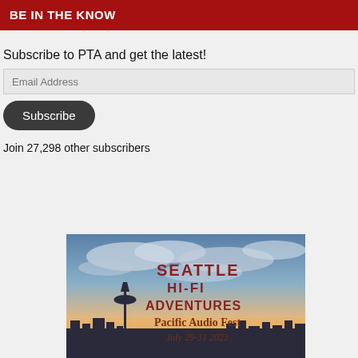BE IN THE KNOW
Subscribe to PTA and get the latest!
Email Address
Subscribe
Join 27,298 other subscribers
[Figure (illustration): Seattle Hi-Fi Adventures Pacific Audio Fest July 29-31 2022 promotional banner with Seattle skyline and Space Needle against a dramatic sunset sky with clouds]